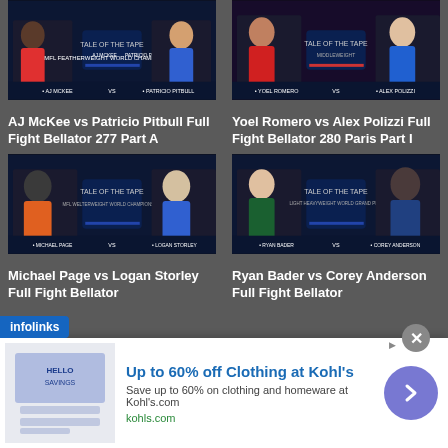[Figure (screenshot): AJ McKee vs Patricio Pitbull Tale of the Tape fight card thumbnail]
AJ McKee vs Patricio Pitbull Full Fight Bellator 277 Part A
[Figure (screenshot): Yoel Romero vs Alex Polizzi Tale of the Tape fight card thumbnail]
Yoel Romero vs Alex Polizzi Full Fight Bellator 280 Paris Part I
[Figure (screenshot): Michael Page vs Logan Storley Tale of the Tape fight card thumbnail]
Michael Page vs Logan Storley Full Fight Bellator
[Figure (screenshot): Ryan Bader vs Corey Anderson Tale of the Tape fight card thumbnail]
Ryan Bader vs Corey Anderson Full Fight Bellator
[Figure (infographic): Advertisement: Up to 60% off Clothing at Kohl's - Save up to 60% on clothing and homeware at Kohl's.com]